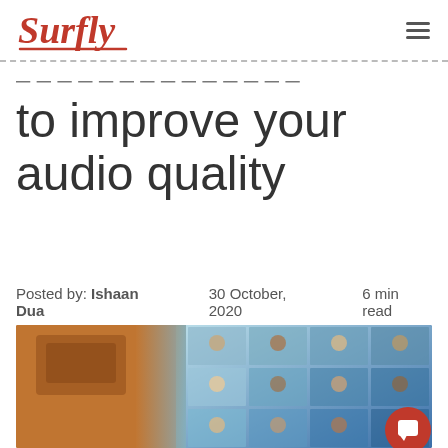Surfly
... ... ... ... ... ... to improve your audio quality
Posted by: Ishaan Dua   30 October, 2020   6 min read
[Figure (photo): A blurred foreground showing a wooden card or object, with a monitor or screen in the background displaying a video conference grid with multiple participants in separate tiles.]